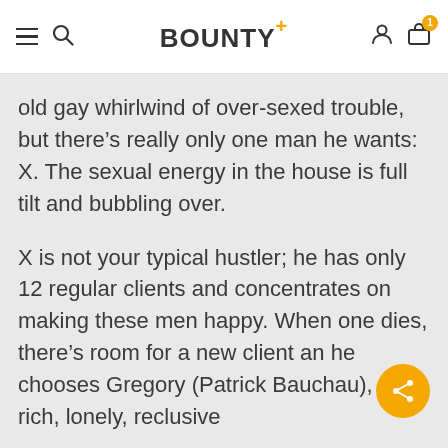BOUNTY+
old gay whirlwind of over-sexed trouble, but there’s really only one man he wants: X. The sexual energy in the house is full tilt and bubbling over.
X is not your typical hustler; he has only 12 regular clients and concentrates on making these men happy. When one dies, there’s room for a new client and he chooses Gregory (Patrick Bauchau), a rich, lonely, reclusive